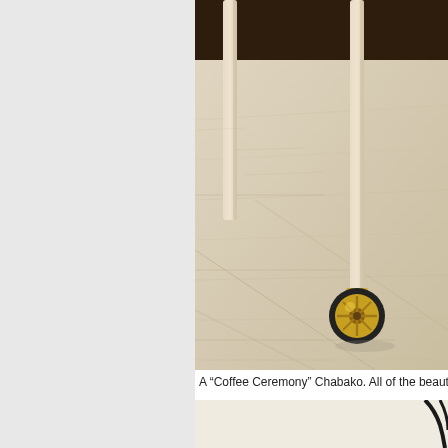[Figure (photo): Close-up photo of the lower legs/wheels of a wooden furniture piece (Chabako trolley) on a light wood floor. The legs are light natural wood, and one gold/yellow wheel with dark rubber tire is visible resting on pale herringbone-pattern hardwood flooring.]
A "Coffee Ceremony" Chabako. All of the beautiful im
[Figure (photo): Partial photo showing a light beige/cream wall and the beginning of a dark curved lamp or object against it.]